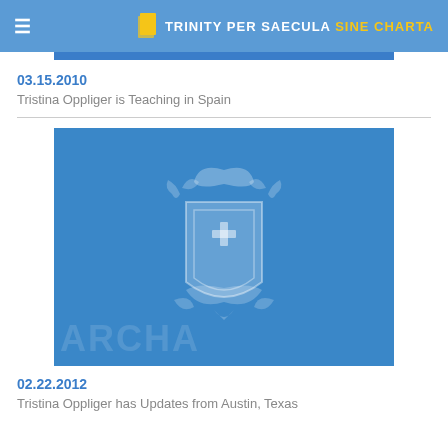TRINITY PER SAECULA SINE CHARTA
03.15.2010
Tristina Oppliger is Teaching in Spain
[Figure (logo): Blue background card with a lighter blue heraldic shield/crest featuring a cross, banner decorations, and scroll elements — the Trinity University crest watermark]
02.22.2012
Tristina Oppliger has Updates from Austin, Texas